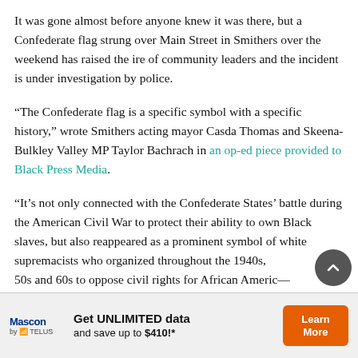It was gone almost before anyone knew it was there, but a Confederate flag strung over Main Street in Smithers over the weekend has raised the ire of community leaders and the incident is under investigation by police.
“The Confederate flag is a specific symbol with a specific history,” wrote Smithers acting mayor Casda Thomas and Skeena-Bulkley Valley MP Taylor Bachrach in an op-ed piece provided to Black Press Media.
“It’s not only connected with the Confederate States’ battle during the American Civil War to protect their ability to own Black slaves, but also reappeared as a prominent symbol of white supremacists who organized throughout the 1940s, 50s and 60s to oppose civil rights for African Americ—
[Figure (other): Advertisement banner: Mascon by TELUS logo on left, text 'Get UNLIMITED data and save up to $410!*' in center, orange 'Learn More' button on right.]